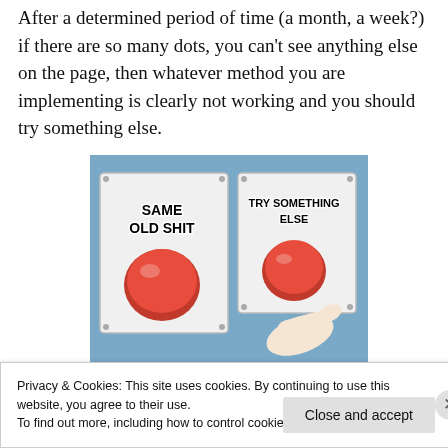After a determined period of time (a month, a week?) if there are so many dots, you can't see anything else on the page, then whatever method you are implementing is clearly not working and you should try something else.
[Figure (illustration): Meme image showing two large red buttons on panels. Left button is labeled 'SAME OLD SHIT' and right button is labeled 'TRY SOMETHING ELSE', with a hand pointing toward the right button.]
Privacy & Cookies: This site uses cookies. By continuing to use this website, you agree to their use.
To find out more, including how to control cookies, see here: Cookie Policy